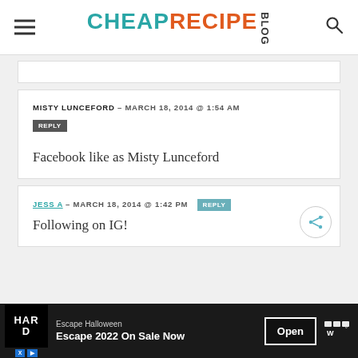CHEAP RECIPE BLOG
Facebook like as Misty Lunceford
MISTY LUNCEFORD – MARCH 18, 2014 @ 1:54 AM
Following on IG!
JESS A – MARCH 18, 2014 @ 1:42 PM
Escape Halloween
Escape 2022 On Sale Now